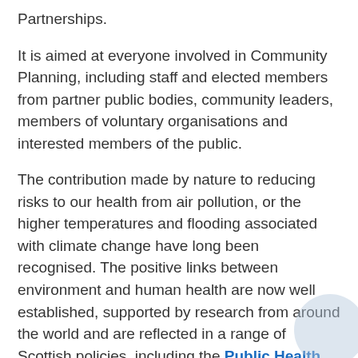Partnerships.
It is aimed at everyone involved in Community Planning, including staff and elected members from partner public bodies, community leaders, members of voluntary organisations and interested members of the public.
The contribution made by nature to reducing risks to our health from air pollution, or the higher temperatures and flooding associated with climate change have long been recognised. The positive links between environment and human health are now well established, supported by research from around the world and are reflected in a range of Scottish policies, including the Public Health Priorities for Scotland as agreed between COSLA and Scottish Government in 2018.
Nature is an important element in our response to the climate emergency; climate change and loss of nature are closely linked. Our changing climate is accelerating